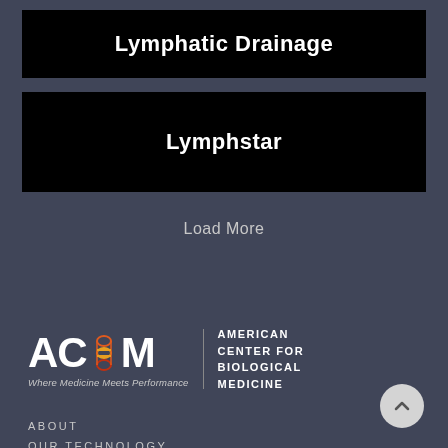Lymphatic Drainage
Lymphstar
Load More
[Figure (logo): ACBM logo with DNA helix graphic. Text reads: AMERICAN CENTER FOR BIOLOGICAL MEDICINE. Tagline: Where Medicine Meets Performance]
ABOUT
OUR TECHNOLOGY